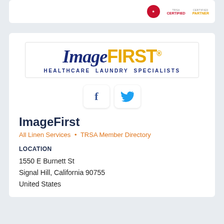[Figure (logo): ImageFIRST Healthcare Laundry Specialists logo with certification badges]
[Figure (logo): ImageFirst company logo — 'Image' in dark blue italic serif, 'FIRST' in gold sans-serif, 'HEALTHCARE LAUNDRY SPECIALISTS' below in dark blue]
[Figure (other): Social media buttons: Facebook (f) and Twitter (bird icon)]
ImageFirst
All Linen Services • TRSA Member Directory
LOCATION
1550 E Burnett St
Signal Hill, California 90755
United States